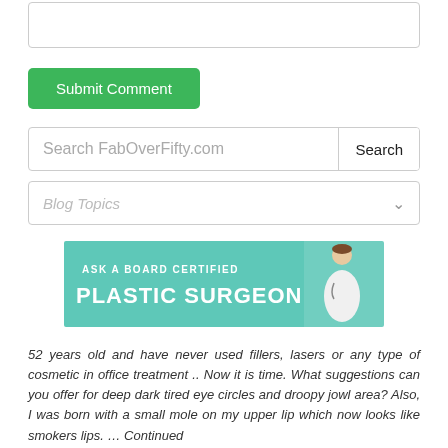[Figure (screenshot): Text area input box (comment field)]
Submit Comment
Search FabOverFifty.com
Blog Topics
[Figure (infographic): Banner: ASK A BOARD CERTIFIED PLASTIC SURGEON with a female doctor in white coat]
52 years old and have never used fillers, lasers or any type of cosmetic in office treatment .. Now it is time. What suggestions can you offer for deep dark tired eye circles and droopy jowl area? Also, I was born with a small mole on my upper lip which now looks like smokers lips. … Continued
READ MORE